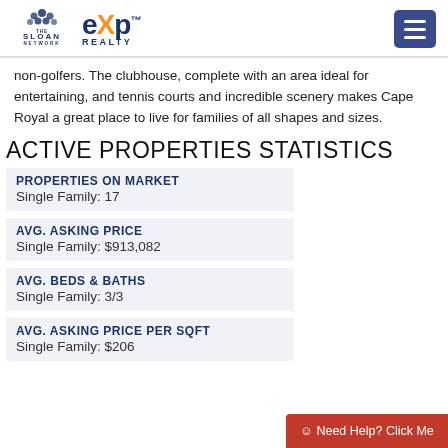The Sloan Network / eXp Realty
non-golfers. The clubhouse, complete with an area ideal for entertaining, and tennis courts and incredible scenery makes Cape Royal a great place to live for families of all shapes and sizes.
ACTIVE PROPERTIES STATISTICS
PROPERTIES ON MARKET
Single Family: 17
AVG. ASKING PRICE
Single Family: $913,082
AVG. BEDS & BATHS
Single Family: 3/3
AVG. ASKING PRICE PER SQFT
Single Family: $206